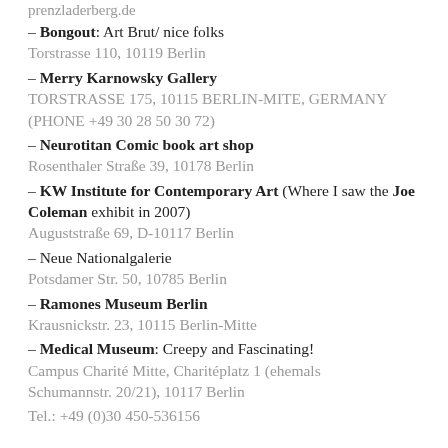prenzladerberg.de
– Bongout: Art Brut/ nice folks
Torstrasse 110, 10119 Berlin
– Merry Karnowsky Gallery
TORSTRASSE 175, 10115 BERLIN-MITE, GERMANY (PHONE +49 30 28 50 30 72)
– Neurotitan Comic book art shop
Rosenthaler Straße 39, 10178 Berlin
– KW Institute for Contemporary Art (Where I saw the Joe Coleman exhibit in 2007)
Auguststraße 69, D-10117 Berlin
– Neue Nationalgalerie
Potsdamer Str. 50, 10785 Berlin
– Ramones Museum Berlin
Krausnickstr. 23, 10115 Berlin-Mitte
– Medical Museum: Creepy and Fascinating!
Campus Charité Mitte, Charitéplatz 1 (ehemals Schumannstr. 20/21), 10117 Berlin
Tel.: +49 (0)30 450-536156